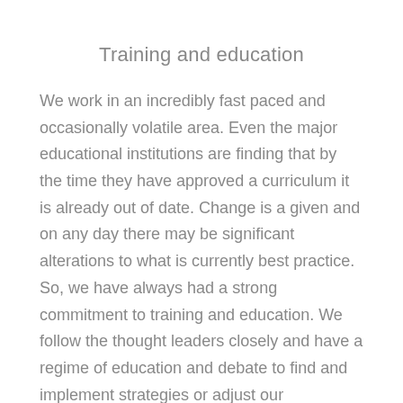Training and education
We work in an incredibly fast paced and occasionally volatile area. Even the major educational institutions are finding that by the time they have approved a curriculum it is already out of date. Change is a given and on any day there may be significant alterations to what is currently best practice. So, we have always had a strong commitment to training and education. We follow the thought leaders closely and have a regime of education and debate to find and implement strategies or adjust our